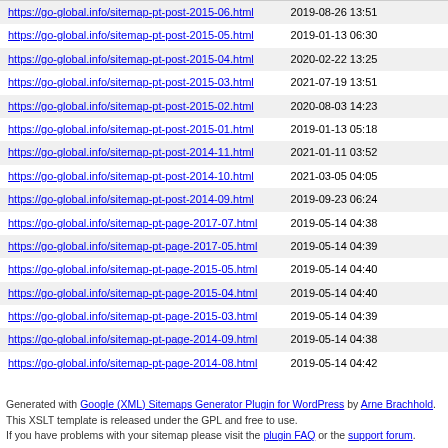| URL | Last Modified |
| --- | --- |
| https://go-global.info/sitemap-pt-post-2015-06.html | 2019-08-26 13:51 |
| https://go-global.info/sitemap-pt-post-2015-05.html | 2019-01-13 06:30 |
| https://go-global.info/sitemap-pt-post-2015-04.html | 2020-02-22 13:25 |
| https://go-global.info/sitemap-pt-post-2015-03.html | 2021-07-19 13:51 |
| https://go-global.info/sitemap-pt-post-2015-02.html | 2020-08-03 14:23 |
| https://go-global.info/sitemap-pt-post-2015-01.html | 2019-01-13 05:18 |
| https://go-global.info/sitemap-pt-post-2014-11.html | 2021-01-11 03:52 |
| https://go-global.info/sitemap-pt-post-2014-10.html | 2021-03-05 04:05 |
| https://go-global.info/sitemap-pt-post-2014-09.html | 2019-09-23 06:24 |
| https://go-global.info/sitemap-pt-page-2017-07.html | 2019-05-14 04:38 |
| https://go-global.info/sitemap-pt-page-2017-05.html | 2019-05-14 04:39 |
| https://go-global.info/sitemap-pt-page-2015-05.html | 2019-05-14 04:40 |
| https://go-global.info/sitemap-pt-page-2015-04.html | 2019-05-14 04:40 |
| https://go-global.info/sitemap-pt-page-2015-03.html | 2019-05-14 04:39 |
| https://go-global.info/sitemap-pt-page-2014-09.html | 2019-05-14 04:38 |
| https://go-global.info/sitemap-pt-page-2014-08.html | 2019-05-14 04:42 |
Generated with Google (XML) Sitemaps Generator Plugin for WordPress by Arne Brachhold. This XSLT template is released under the GPL and free to use. If you have problems with your sitemap please visit the plugin FAQ or the support forum.